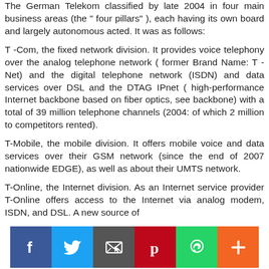The German Telekom classified by late 2004 in four main business areas (the " four pillars" ), each having its own board and largely autonomous acted. It was as follows:
T -Com, the fixed network division. It provides voice telephony over the analog telephone network ( former Brand Name: T -Net) and the digital telephone network (ISDN) and data services over DSL and the DTAG IPnet ( high-performance Internet backbone based on fiber optics, see backbone) with a total of 39 million telephone channels (2004: of which 2 million to competitors rented).
T-Mobile, the mobile division. It offers mobile voice and data services over their GSM network (since the end of 2007 nationwide EDGE), as well as about their UMTS network.
T-Online, the Internet division. As an Internet service provider T-Online offers access to the Internet via analog modem, ISDN, and DSL. A new source of
[Figure (infographic): Social media sharing bar with icons for Facebook (blue), Twitter (light blue), Email/envelope (dark gray), Pinterest (red), WhatsApp (green), and More/plus (orange).]